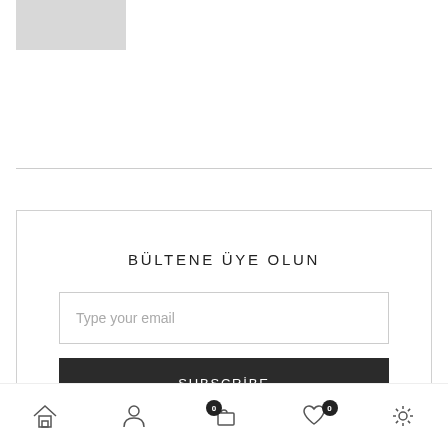[Figure (screenshot): Gray placeholder image box in top left corner of page]
BÜLTENE ÜYE OLUN
Type your email
SUBSCRİBE
[Figure (other): Bottom navigation bar with home, user, cart (0), wishlist (0), and settings icons]